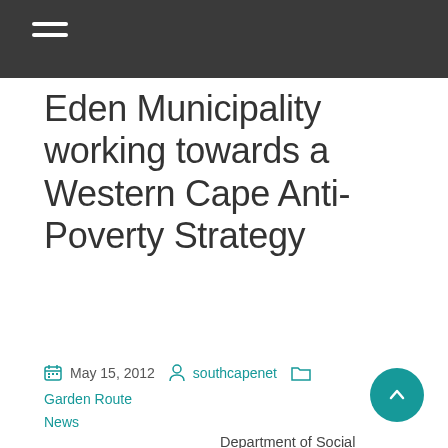Eden Municipality working towards a Western Cape Anti-Poverty Strategy
May 15, 2012  southcapenet  Garden Route News
Department of Social Development –Eden Municipality working towards a Western Cape Anti-Poverty Strategy; how does a solar pa work
REGIONAL POVERTY INDABA -EDEN DISTRICT MUNICIPALITY